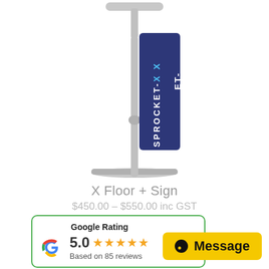[Figure (photo): Product photo of a floor sign stand with a dark navy blue sign panel labeled SPROCKET-X in white and teal letters, mounted on a thin metal pole with a cross base.]
X Floor + Sign
$450.00 – $550.00 inc GST
[Figure (infographic): Google Rating widget showing a Google G logo, rating of 5.0 with 5 orange stars, and text 'Based on 85 reviews', inside a rounded box with a green top border.]
[Figure (other): Yellow Message button with a chat bubble icon and the word Message in bold black text.]